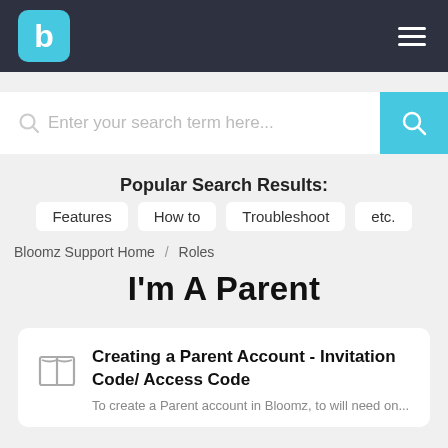[Figure (logo): Bloomz app logo — teal rounded square with white 'b' letter, on dark navy header bar with hamburger menu icon on right]
Enter your search term here...
Popular Search Results:
Features
How to
Troubleshoot
etc.
Bloomz Support Home / Roles
I'm A Parent
Creating a Parent Account - Invitation Code/ Access Code
To create a Parent account in Bloomz, to will need on...